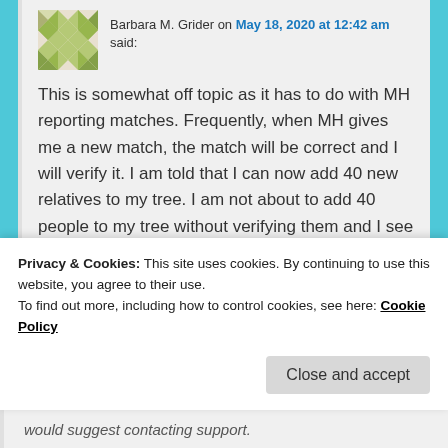[Figure (illustration): Quilted green and beige patterned avatar image for user Barbara M. Grider]
Barbara M. Grider on May 18, 2020 at 12:42 am said:
This is somewhat off topic as it has to do with MH reporting matches. Frequently, when MH gives me a new match, the match will be correct and I will verify it. I am told that I can now add 40 new relatives to my tree. I am not about to add 40 people to my tree without verifying them and I see no way to get information on them, at least, from MH. Am I missing something?
Like
Reply ↓
Privacy & Cookies: This site uses cookies. By continuing to use this website, you agree to their use.
To find out more, including how to control cookies, see here: Cookie Policy
Close and accept
would suggest contacting support.